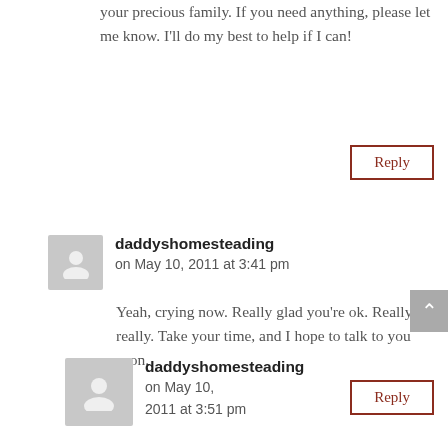your precious family. If you need anything, please let me know. I'll do my best to help if I can!
Reply
daddyshomesteading on May 10, 2011 at 3:41 pm
Yeah, crying now. Really glad you're ok. Really really. Take your time, and I hope to talk to you soon.
Reply
daddyshomesteading on May 10, 2011 at 3:51 pm